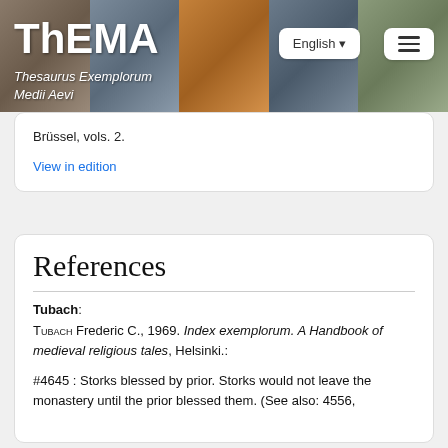ThEMA — Thesaurus Exemplorum Medii Aevi
Brüssel, vols. 2.
View in edition
References
Tubach:
TUBACH Frederic C., 1969. Index exemplorum. A Handbook of medieval religious tales, Helsinki.:
#4645 : Storks blessed by prior. Storks would not leave the monastery until the prior blessed them. (See also: 4556,